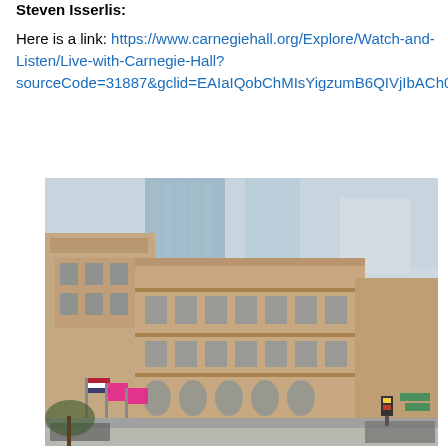Steven Isserlis:
Here is a link: https://www.carnegiehall.org/Explore/Watch-and-Listen/Live-with-Carnegie-Hall?sourceCode=31887&gclid=EAIaIQobChMIsYigzumB6QIVjIbACh061Qz2EAAYASABEgJE3fD_BwE
[Figure (photo): Exterior photograph of Carnegie Hall building in New York City, showing the historic red-brick and terracotta facade with surrounding modern skyscrapers in the background, flags visible at the entrance, street view from corner angle.]